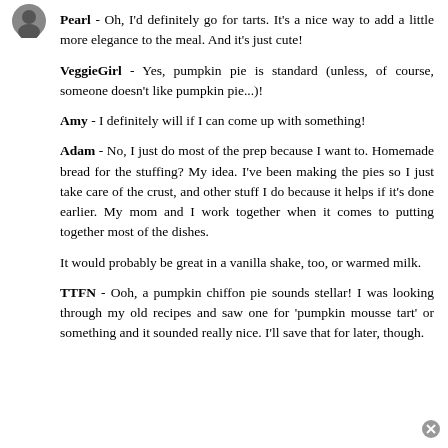[Figure (photo): Small circular avatar photo in top-left corner]
Pearl - Oh, I'd definitely go for tarts. It's a nice way to add a little more elegance to the meal. And it's just cute!
VeggieGirl - Yes, pumpkin pie is standard (unless, of course, someone doesn't like pumpkin pie...)!
Amy - I definitely will if I can come up with something!
Adam - No, I just do most of the prep because I want to. Homemade bread for the stuffing? My idea. I've been making the pies so I just take care of the crust, and other stuff I do because it helps if it's done earlier. My mom and I work together when it comes to putting together most of the dishes.
It would probably be great in a vanilla shake, too, or warmed milk.
TTFN - Ooh, a pumpkin chiffon pie sounds stellar! I was looking through my old recipes and saw one for 'pumpkin mousse tart' or something and it sounded really nice. I'll save that for later, though.